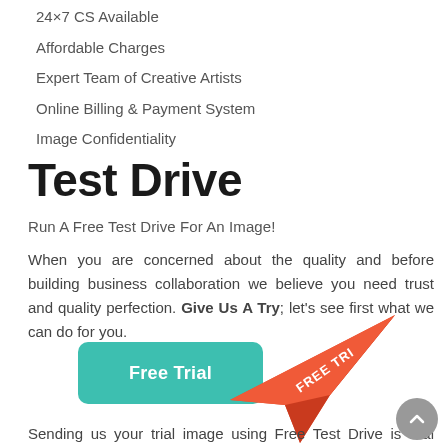24×7 CS Available
Affordable Charges
Expert Team of Creative Artists
Online Billing & Payment System
Image Confidentiality
Test Drive
Run A Free Test Drive For An Image!
When you are concerned about the quality and before building business collaboration we believe you need trust and quality perfection. Give Us A Try; let's see first what we can do for you.
[Figure (illustration): A teal/green rounded rectangle button labeled 'Free Trial' and a red paper airplane graphic with 'FREE TRI' text on it]
Sending us your trial image using Free Test Drive is real easy. Just a form need to fill in with your name, email, image location and some instructions.